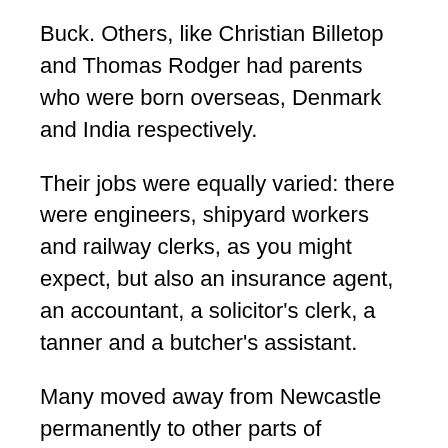Buck. Others, like Christian Billetop and Thomas Rodger had parents who were born overseas, Denmark and India respectively.
Their jobs were equally varied: there were engineers, shipyard workers and railway clerks, as you might expect, but also an insurance agent, an accountant, a solicitor's clerk, a tanner and a butcher's assistant.
Many moved away from Newcastle permanently to other parts of England like Portsmouth, Essex, Warwickshire and Leicestershire as well as further afield.
We don't know how many of them served in World War One as many records have been destroyed but at least one, Donald Smart, died on active service and another, John Buck, was incapacitated as a result of the war. Arthur